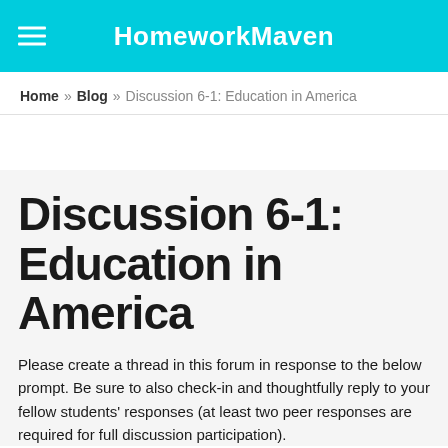HomeworkMaven
Home » Blog » Discussion 6-1: Education in America
Discussion 6-1: Education in America
Please create a thread in this forum in response to the below prompt. Be sure to also check-in and thoughtfully reply to your fellow students' responses (at least two peer responses are required for full discussion participation).